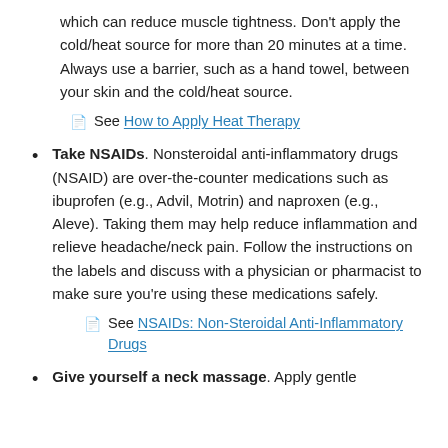which can reduce muscle tightness. Don't apply the cold/heat source for more than 20 minutes at a time. Always use a barrier, such as a hand towel, between your skin and the cold/heat source.
See How to Apply Heat Therapy
Take NSAIDs. Nonsteroidal anti-inflammatory drugs (NSAID) are over-the-counter medications such as ibuprofen (e.g., Advil, Motrin) and naproxen (e.g., Aleve). Taking them may help reduce inflammation and relieve headache/neck pain. Follow the instructions on the labels and discuss with a physician or pharmacist to make sure you're using these medications safely.
See NSAIDs: Non-Steroidal Anti-Inflammatory Drugs
Give yourself a neck massage. Apply gentle